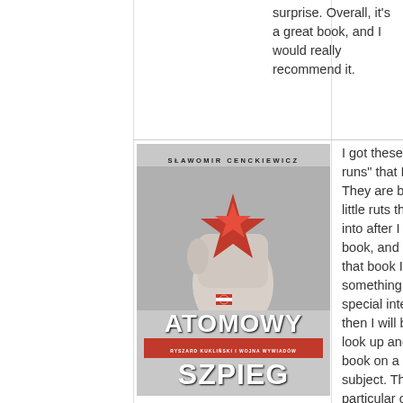surprise. Overall, it's a great book, and I would really recommend it.
[Figure (photo): Book cover of 'Atomowy Szpieg' by Sławomir Cenckiewicz. Shows a hand holding a red star against a grey background. Title reads ATOMOWY SZPIEG with subtitle RYSZARD KUKLIŃSKI I WOJNA WYWIADÓW.]
I got these "reading runs" that I go on. They are basically a little ruts that I get into after I read one book, and then in that book I find something of special interest, then I will basically look up another book on a similar subject. This particular one, came about when I was reading Sowieci by Piotr Zychowicz. I was basically never